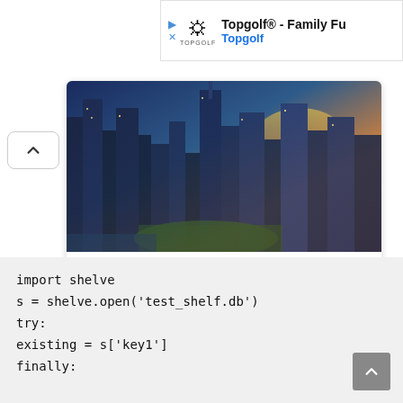[Figure (screenshot): Ad banner for Topgolf® - Family Fu... with Topgolf logo and play/close icons]
[Figure (screenshot): Content card showing aerial cityscape photo with title 'Infographic: How to Simplify Global Expansion with International PEO' by Velocity Global, with a right-arrow button. A chevron-up button sits to the left of the card.]
[Figure (screenshot): Code block on gray background showing Python code: import shelve, s = shelve.open('test_shelf.db'), try:, existing = s['key1'], finally:]